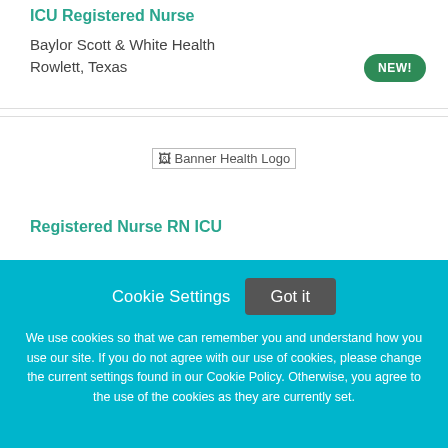ICU Registered Nurse
Baylor Scott & White Health
Rowlett, Texas
[Figure (other): NEW! badge — green rounded pill button with white bold text]
[Figure (logo): Banner Health Logo image placeholder]
Registered Nurse RN ICU
Cookie Settings
Got it
We use cookies so that we can remember you and understand how you use our site. If you do not agree with our use of cookies, please change the current settings found in our Cookie Policy. Otherwise, you agree to the use of the cookies as they are currently set.